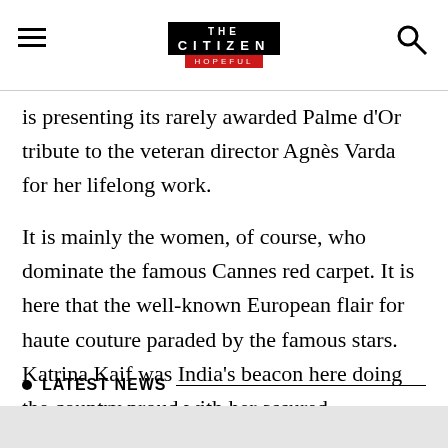THE CITIZEN · HOPEFUL
is presenting its rarely awarded Palme d'Or tribute to the veteran director Agnès Varda for her lifelong work.
It is mainly the women, of course, who dominate the famous Cannes red carpet. It is here that the well-known European flair for haute couture paraded by the famous stars. Katrina Kaif was India's beacon here doing the country proud with her assured deportment and looking gorgeous in a black strapless Oscar de la Renta gown.
LATEST NEWS